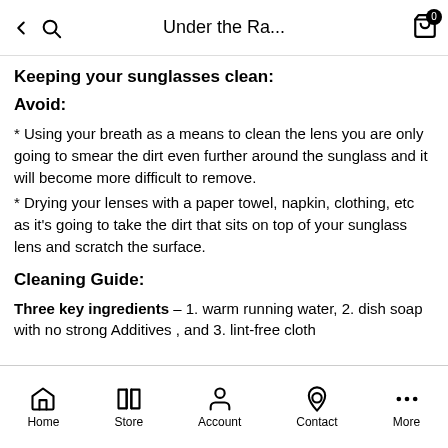Under the Ra...
Keeping your sunglasses clean:
Avoid:
* Using your breath as a means to clean the lens you are only going to smear the dirt even further around the sunglass and it will become more difficult to remove.
* Drying your lenses with a paper towel, napkin, clothing, etc as it's going to take the dirt that sits on top of your sunglass lens and scratch the surface.
Cleaning Guide:
Three key ingredients – 1. warm running water, 2. dish soap with no strong Additives , and 3. lint-free cloth
Home  Store  Account  Contact  More